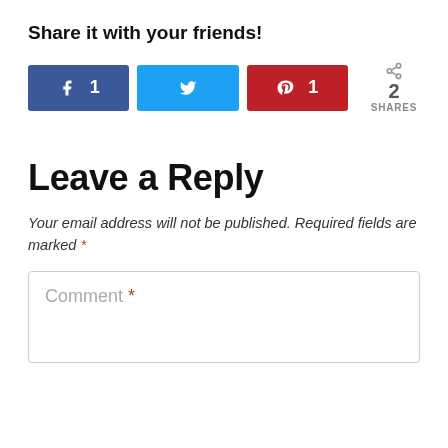Share it with your friends!
[Figure (infographic): Social share buttons: Facebook with count 1, Twitter, Pinterest with count 1, and a total share count of 2 SHARES]
Leave a Reply
Your email address will not be published. Required fields are marked *
Comment *